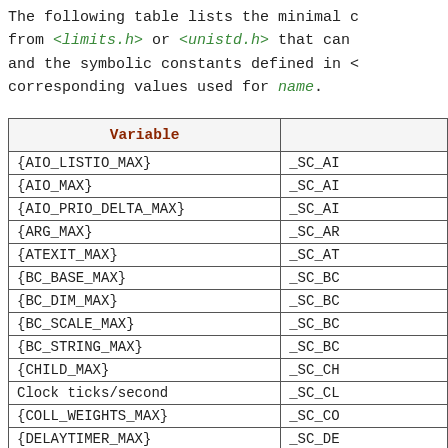The following table lists the minimal ... from <limits.h> or <unistd.h> that can ... and the symbolic constants defined in <... corresponding values used for name.
| Variable |  |
| --- | --- |
| {AIO_LISTIO_MAX} | _SC_AI |
| {AIO_MAX} | _SC_AI |
| {AIO_PRIO_DELTA_MAX} | _SC_AI |
| {ARG_MAX} | _SC_AR |
| {ATEXIT_MAX} | _SC_AT |
| {BC_BASE_MAX} | _SC_BC |
| {BC_DIM_MAX} | _SC_BC |
| {BC_SCALE_MAX} | _SC_BC |
| {BC_STRING_MAX} | _SC_BC |
| {CHILD_MAX} | _SC_CH |
| Clock ticks/second | _SC_CL |
| {COLL_WEIGHTS_MAX} | _SC_CO |
| {DELAYTIMER_MAX} | _SC_DE |
| {EXPR_NEST_MAX} | _SC_EX |
| {HOST_NAME_MAX} | _SC_HO |
| {IOV_MAX} | _SC_IO |
| {LINE_MAX} | _SC_LI |
| {LOGIN_NAME_MAX} | _SC_LO |